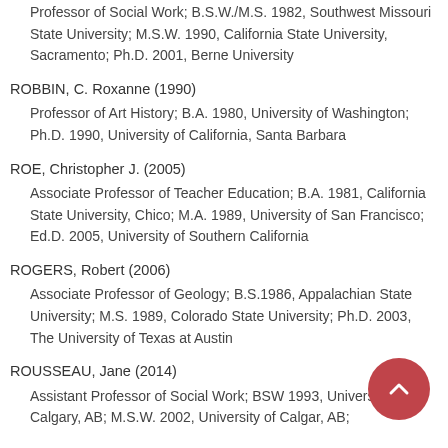Professor of Social Work; B.S.W./M.S. 1982, Southwest Missouri State University; M.S.W. 1990, California State University, Sacramento; Ph.D. 2001, Berne University
ROBBIN, C. Roxanne (1990)
Professor of Art History; B.A. 1980, University of Washington; Ph.D. 1990, University of California, Santa Barbara
ROE, Christopher J. (2005)
Associate Professor of Teacher Education; B.A. 1981, California State University, Chico; M.A. 1989, University of San Francisco; Ed.D. 2005, University of Southern California
ROGERS, Robert (2006)
Associate Professor of Geology; B.S.1986, Appalachian State University; M.S. 1989, Colorado State University; Ph.D. 2003, The University of Texas at Austin
ROUSSEAU, Jane (2014)
Assistant Professor of Social Work; BSW 1993, University of Calgary, AB; M.S.W. 2002, University of Calgar, AB;